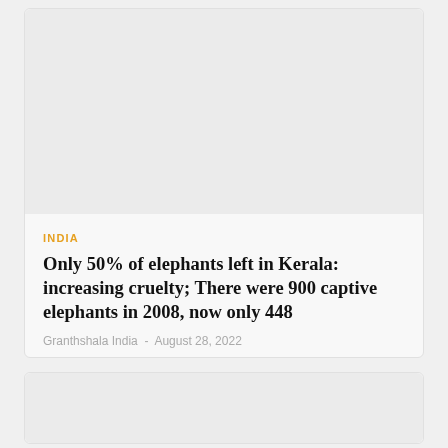INDIA
Only 50% of elephants left in Kerala: increasing cruelty; There were 900 captive elephants in 2008, now only 448
Granthshala India  -  August 28, 2022